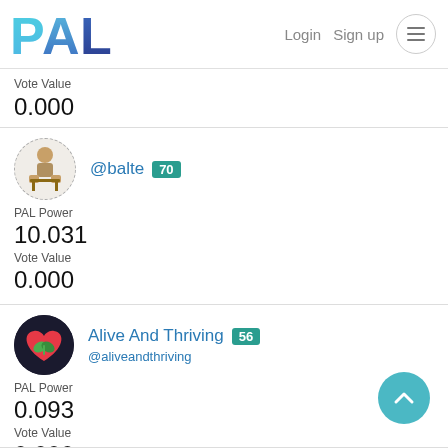PAL — Login  Sign up
Vote Value
0.000
@balte 70
PAL Power
10.031
Vote Value
0.000
Alive And Thriving 56
@aliveandthriving
PAL Power
0.093
Vote Value
0.000